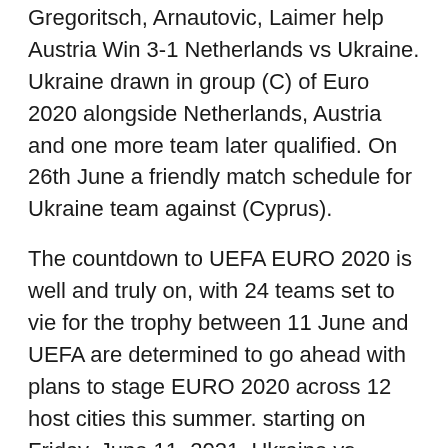Gregoritsch, Arnautovic, Laimer help Austria Win 3-1 Netherlands vs Ukraine. Ukraine drawn in group (C) of Euro 2020 alongside Netherlands, Austria and one more team later qualified. On 26th June a friendly match schedule for Ukraine team against (Cyprus).
The countdown to UEFA EURO 2020 is well and truly on, with 24 teams set to vie for the trophy between 11 June and UEFA are determined to go ahead with plans to stage EURO 2020 across 12 host cities this summer. starting on Friday, June 11, 2021. Ukraine vs Austria, June Spain can only 'hope for the best' in Euro 2020 opener (1:16) Alejandro Moreno examines the difficult situation facing Spain amid a COVID-19 outbreak on the eve of the Euros. The countdown to UEFA EURO 2020 is well and truly on, with 24 teams set to vie for the trophy between 11 June and 11 July. Netherlands vs